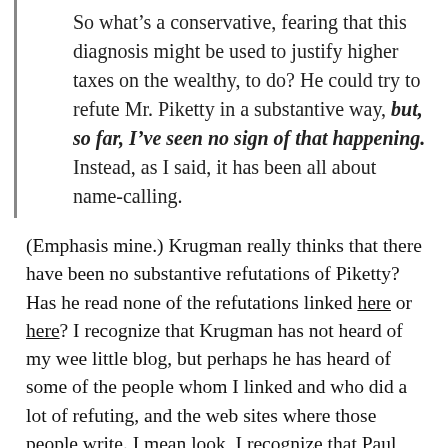So what's a conservative, fearing that this diagnosis might be used to justify higher taxes on the wealthy, to do? He could try to refute Mr. Piketty in a substantive way, but, so far, I've seen no sign of that happening. Instead, as I said, it has been all about name-calling.
(Emphasis mine.) Krugman really thinks that there have been no substantive refutations of Piketty? Has he read none of the refutations linked here or here? I recognize that Krugman has not heard of my wee little blog, but perhaps he has heard of some of the people whom I linked and who did a lot of refuting, and the web sites where those people write. I mean look, I recognize that Paul Krugman has epistemic closure issues, but apparently, they are worse than I ever thought they were. And I thought they were